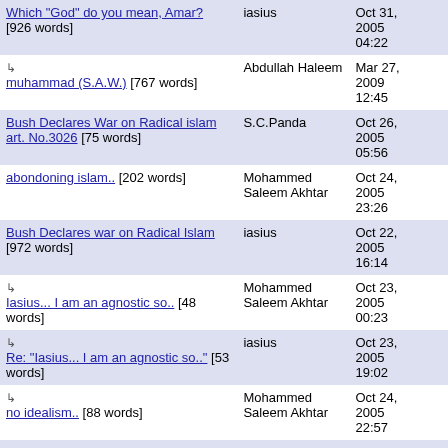| Title | Author | Date |
| --- | --- | --- |
| Which "God" do you mean, Amar? [926 words] | iasius | Oct 31, 2005 04:22 |
| ↳ muhammad (S.A.W.) [767 words] | Abdullah Haleem | Mar 27, 2009 12:45 |
| Bush Declares War on Radical islam art. No.3026 [75 words] | S.C.Panda | Oct 26, 2005 05:56 |
| abondoning islam.. [202 words] | Mohammed Saleem Akhtar | Oct 24, 2005 23:26 |
| Bush Declares war on Radical Islam [972 words] | iasius | Oct 22, 2005 16:14 |
| ↳ Iasius... I am an agnostic so.. [48 words] | Mohammed Saleem Akhtar | Oct 23, 2005 00:23 |
| ↳ Re: "Iasius... I am an agnostic so.." [53 words] | iasius | Oct 23, 2005 19:02 |
| ↳ no idealism.. [88 words] | Mohammed Saleem Akhtar | Oct 24, 2005 22:57 |
| ↳ "no idealism..." responses [625 words] | iasius | Oct 26, 2005 |